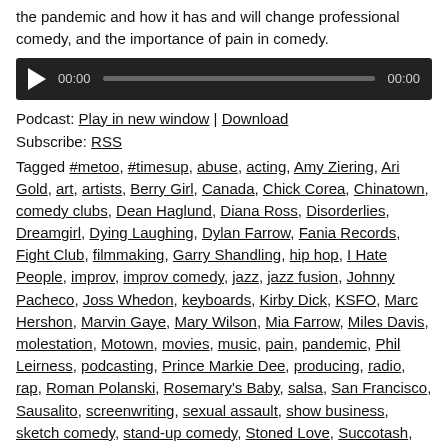the pandemic and how it has and will change professional comedy, and the importance of pain in comedy.
[Figure (other): Audio player widget with play button, time display 00:00, progress bar, and end time 00:00 on dark background]
Podcast: Play in new window | Download
Subscribe: RSS
Tagged #metoo, #timesup, abuse, acting, Amy Ziering, Ari Gold, art, artists, Berry Girl, Canada, Chick Corea, Chinatown, comedy clubs, Dean Haglund, Diana Ross, Disorderlies, Dreamgirl, Dying Laughing, Dylan Farrow, Fania Records, Fight Club, filmmaking, Garry Shandling, hip hop, I Hate People, improv, improv comedy, jazz, jazz fusion, Johnny Pacheco, Joss Whedon, keyboards, Kirby Dick, KSFO, Marc Hershon, Marvin Gaye, Mary Wilson, Mia Farrow, Miles Davis, molestation, Motown, movies, music, pain, pandemic, Phil Leirness, podcasting, Prince Markie Dee, producing, radio, rap, Roman Polanski, Rosemary's Baby, salsa, San Francisco, Sausalito, screenwriting, sexual assault, show business, sketch comedy, stand-up comedy, Stoned Love, Succotash, Suli McCullough, television, The Fat Boys, The